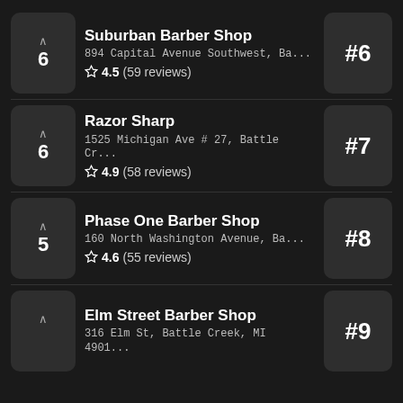Suburban Barber Shop | 894 Capital Avenue Southwest, Ba... | 4.5 (59 reviews) | rank 6 | #6
Razor Sharp | 1525 Michigan Ave # 27, Battle Cr... | 4.9 (58 reviews) | rank 6 | #7
Phase One Barber Shop | 160 North Washington Avenue, Ba... | 4.6 (55 reviews) | rank 5 | #8
Elm Street Barber Shop | 316 Elm St, Battle Creek, MI 4901... | #9